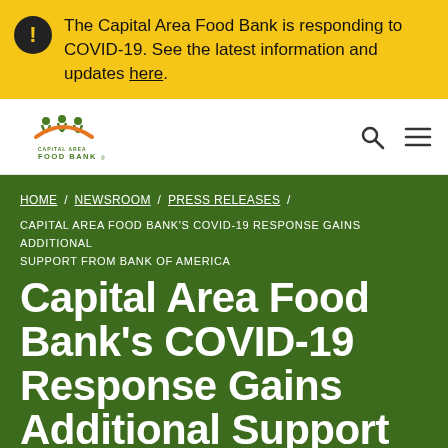The Capital Area Food Bank is responding to COVID-19. See the latest information and updates here.
[Figure (logo): Capital Area Food Bank logo with green figures and orange arch]
HOME / NEWSROOM / PRESS RELEASES /
CAPITAL AREA FOOD BANK'S COVID-19 RESPONSE GAINS ADDITIONAL SUPPORT FROM BANK OF AMERICA
Capital Area Food Bank's COVID-19 Response Gains Additional Support from Bank of America